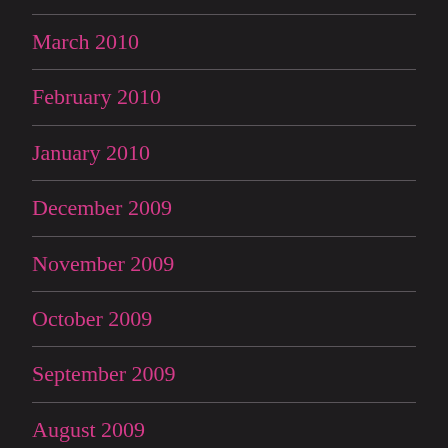March 2010
February 2010
January 2010
December 2009
November 2009
October 2009
September 2009
August 2009